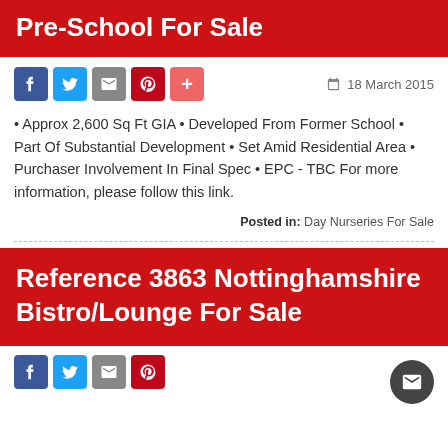Pre-School For Sale
18 March 2015
• Approx 2,600 Sq Ft GIA • Developed From Former School • Part Of Substantial Development • Set Amid Residential Area • Purchaser Involvement In Final Spec • EPC - TBC For more information, please follow this link.
Posted in: Day Nurseries For Sale
Reference 3863 Nottinghamshire Bistro/Lounge For Sale
09 March 2015